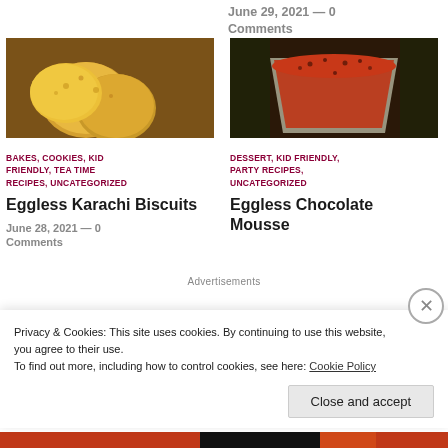June 29, 2021 — 0 Comments
[Figure (photo): Eggless Karachi Biscuits - golden yellow cookies on a wooden surface]
BAKES, COOKIES, KID FRIENDLY, TEA TIME RECIPES, UNCATEGORIZED
Eggless Karachi Biscuits
June 28, 2021 — 0 Comments
[Figure (photo): Eggless Chocolate Mousse - chocolate mousse in a clear plastic cup topped with cocoa powder]
DESSERT, KID FRIENDLY, PARTY RECIPES, UNCATEGORIZED
Eggless Chocolate Mousse
Advertisements
Privacy & Cookies: This site uses cookies. By continuing to use this website, you agree to their use.
To find out more, including how to control cookies, see here: Cookie Policy
Close and accept